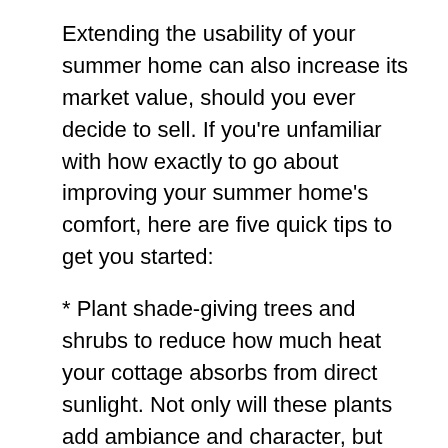Extending the usability of your summer home can also increase its market value, should you ever decide to sell. If you're unfamiliar with how exactly to go about improving your summer home's comfort, here are five quick tips to get you started:
* Plant shade-giving trees and shrubs to reduce how much heat your cottage absorbs from direct sunlight. Not only will these plants add ambiance and character, but they will help contribute to keeping the cottage cooler.
* Consider upgrading your cottage's small and large appliances to ENERGY STAR-rated appliances that can run on very low energy during the low season.
* Consider having an independent contractor perform a home energy audit, to determine where your home could